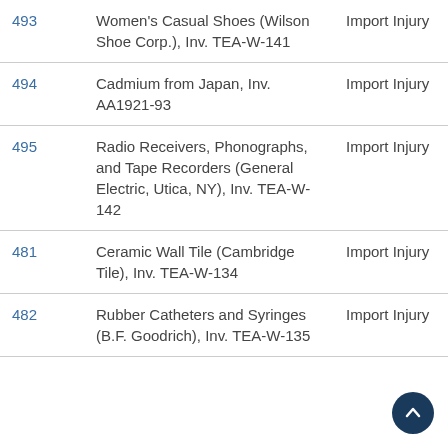| No. | Case | Type |
| --- | --- | --- |
| 493 | Women's Casual Shoes (Wilson Shoe Corp.), Inv. TEA-W-141 | Import Injury |
| 494 | Cadmium from Japan, Inv. AA1921-93 | Import Injury |
| 495 | Radio Receivers, Phonographs, and Tape Recorders (General Electric, Utica, NY), Inv. TEA-W-142 | Import Injury |
| 481 | Ceramic Wall Tile (Cambridge Tile), Inv. TEA-W-134 | Import Injury |
| 482 | Rubber Catheters and Syringes (B.F. Goodrich), Inv. TEA-W-135 | Import Injury |